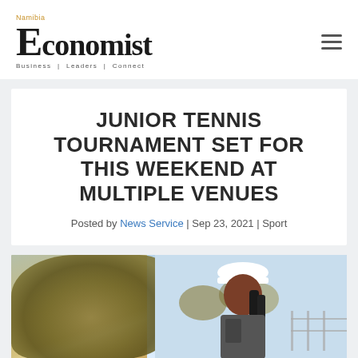Namibia Economist — Business | Leaders | Connect
JUNIOR TENNIS TOURNAMENT SET FOR THIS WEEKEND AT MULTIPLE VENUES
Posted by News Service | Sep 23, 2021 | Sport
[Figure (photo): Photo of a tennis player wearing a white visor cap at an outdoor tennis court with shrubs and trees in the background]